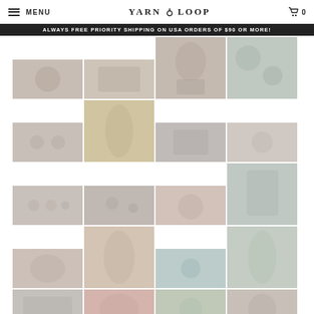MENU | YARN LOOP | 0
ALWAYS FREE PRIORITY SHIPPING ON USA ORDERS OF $90 OR MORE!
[Figure (photo): Grid of product/lifestyle photos for Yarn Loop shop]
[Figure (photo): Flatlay food/product photo]
[Figure (photo): Craft materials flatlay]
[Figure (photo): Woman with curly hair wearing knit top, back view]
[Figure (photo): Overhead food bowls]
[Figure (photo): Craft/sewing notions flatlay]
[Figure (photo): Woman in yellow/mustard dress]
[Figure (photo): Yarn or craft tool closeup]
[Figure (photo): Small bowl or dish closeup]
[Figure (photo): Flatlay with small objects]
[Figure (photo): Flatlay with small objects colored]
[Figure (photo): Closeup fruit or yarn]
[Figure (photo): Woman in plaid shirt outdoors back view]
[Figure (photo): Woman in pink shirt outdoor]
[Figure (photo): Woman with curly hair in peach top]
[Figure (photo): Plant/succulent on surface]
[Figure (photo): Woman in floral dress outdoors]
[Figure (photo): Knitting or craft pattern closeup]
[Figure (photo): Red/orange knit garment]
[Figure (photo): Outdoor plant or landscape]
[Figure (photo): Woman portrait outdoors]